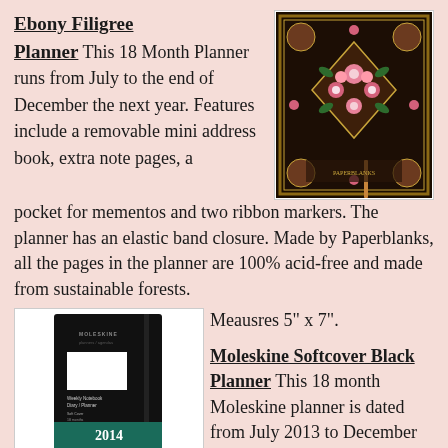Ebony Filigree Planner
This 18 Month Planner runs from July to the end of December the next year. Features include a removable mini address book, extra note pages, a pocket for mementos and two ribbon markers. The planner has an elastic band closure. Made by Paperblanks, all the pages in the planner are 100% acid-free and made from sustainable forests.
[Figure (photo): Ebony Filigree Planner cover - ornate dark floral pattern with pink flowers on a black background with decorative border]
Meausres 5" x 7".
[Figure (photo): Moleskine Softcover Black Planner - black softcover weekly notebook diary/planner for 2014]
Moleskine Softcover Black Planner
This 18 month Moleskine planner is dated from July 2013 to December 2014, formatted to show the week's appointments on the